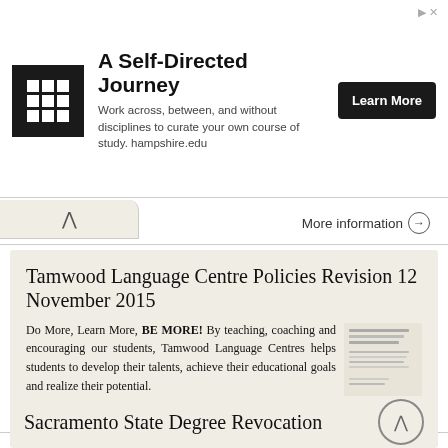[Figure (illustration): Advertisement banner: Hampshire College logo (white grid icon on black square), title 'A Self-Directed Journey', description text, and 'Learn More' button]
More information →
Tamwood Language Centre Policies Revision 12 November 2015
Do More, Learn More, BE MORE! By teaching, coaching and encouraging our students, Tamwood Language Centres helps students to develop their talents, achieve their educational goals and realize their potential.
More information →
Sacramento State Degree Revocation